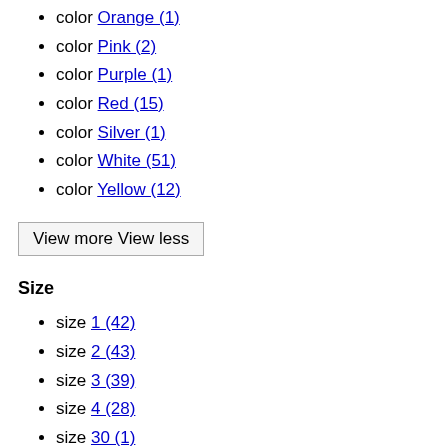color Orange (1)
color Pink (2)
color Purple (1)
color Red (15)
color Silver (1)
color White (51)
color Yellow (12)
View more View less
Size
size 1 (42)
size 2 (43)
size 3 (39)
size 4 (28)
size 30 (1)
size 37 (7)
size 38 (8)
size 39 (91)
size 39.5 (3)
size 40 (93)
size 40.5 (3)
size 41 (91)
size 41.5 (3)